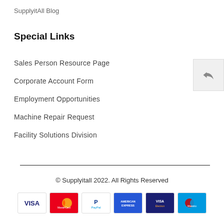SupplyitAll Blog
Special Links
Sales Person Resource Page
Corporate Account Form
Employment Opportunities
Machine Repair Request
Facility Solutions Division
© Supplyitall 2022. All Rights Reserved